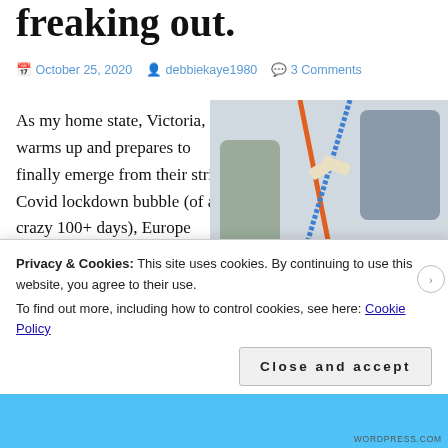freaking out.
October 25, 2020   debbiekaye1980   3 Comments
As my home state, Victoria, warms up and prepares to finally emerge from their strict Covid lockdown bubble (of a crazy 100+ days), Europe heads into winter, and what we
[Figure (photo): Two glasses of orange Aperol Spritz drinks with colorful straws on a wooden table, with a teddy bear and knitted hat props visible]
Privacy & Cookies: This site uses cookies. By continuing to use this website, you agree to their use.
To find out more, including how to control cookies, see here: Cookie Policy
Close and accept